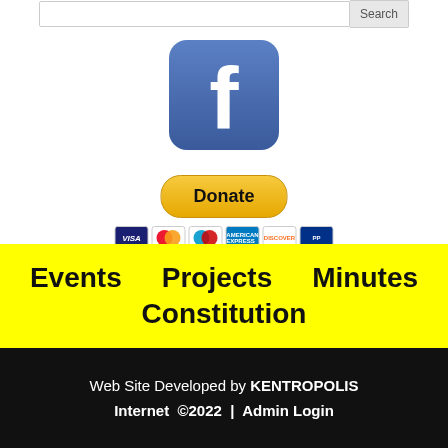[Figure (screenshot): Search bar with input field and Search button at top of page]
[Figure (logo): Facebook icon/logo - blue rounded square with white lowercase f]
[Figure (other): PayPal Donate button in yellow/gold with credit card icons below (VISA, Mastercard, Maestro, AmEx, Discover, PayPal)]
Events    Projects    Minutes
Constitution
Web Site Developed by KENTROPOLIS
Internet  ©2022  |  Admin Login